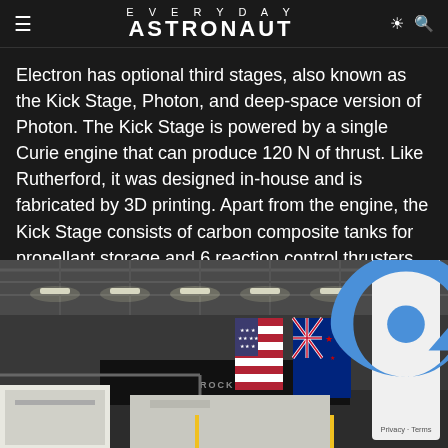EVERYDAY ASTRONAUT
Electron has optional third stages, also known as the Kick Stage, Photon, and deep-space version of Photon. The Kick Stage is powered by a single Curie engine that can produce 120 N of thrust. Like Rutherford, it was designed in-house and is fabricated by 3D printing. Apart from the engine, the Kick Stage consists of carbon composite tanks for propellant storage and 6 reaction control thrusters.
[Figure (photo): Interior of Rocket Lab facility showing a large industrial warehouse with high ceiling, bright overhead lighting, and two flags hanging — an American flag and a New Zealand flag. A Rocket Lab branded vehicle or equipment is visible in the foreground.]